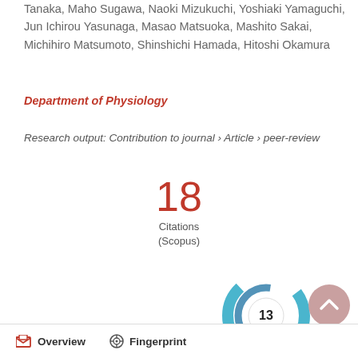Tanaka, Maho Sugawa, Naoki Mizukuchi, Yoshiaki Yamaguchi, Jun Ichirou Yasunaga, Masao Matsuoka, Mashito Sakai, Michihiro Matsumoto, Shinshichi Hamada, Hitoshi Okamura
Department of Physiology
Research output: Contribution to journal › Article › peer-review
[Figure (infographic): 18 Citations (Scopus) badge]
[Figure (infographic): Altmetric score badge showing 13, circular blue/teal design]
[Figure (infographic): Scroll to top button, pink/mauve circle with upward chevron]
Overview   Fingerprint